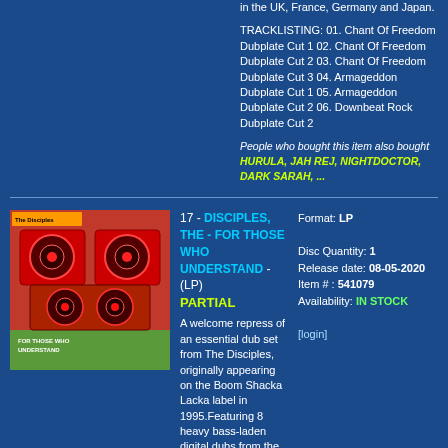in the UK, France, Germany and Japan.
TRACKLISTING: 01. Chant Of Freedom Dubplate Cut 1 02. Chant Of Freedom Dubplate Cut 2 03. Chant Of Freedom Dubplate Cut 3 04. Armageddon Dubplate Cut 1 05. Armageddon Dubplate Cut 2 06. Downbeat Rock Dubplate Cut 2
People who bought this item also bought HURULA, JAH REJ, NIGHTDOCTOR, DARK SARAH, ...
[Figure (photo): Album cover for The Disciples - For Those Who Understand, showing boomboxes/speakers on colored background]
17 - DISCIPLES, THE - FOR THOSE WHO UNDERSTAND - (LP) PARTIAL
A welcome repress of an essential dub set from The Disciples, originally appearing on the Boom Shacka Lacka label in 1995.Featuring 8 heavy bass-laden digital dubs from the mid-90s that featured heavily on The Disciples own Boom Shacka Lacka sound system as well as getting heavy play from the likes of Jah Shaka and Aba Shanti I.Limited to 500 copies only.
TRACKLISTING: 01. Prowling Lion (ext. Mix) 02. Chetswayo 03. Kali 04. Abyssinia 05. Upliftment 06. D.p. Special
Format: LP
Disc Quantity: 1
Release date: 08-05-2020
Item # : 541079
Availability: IN STOCK
[login]